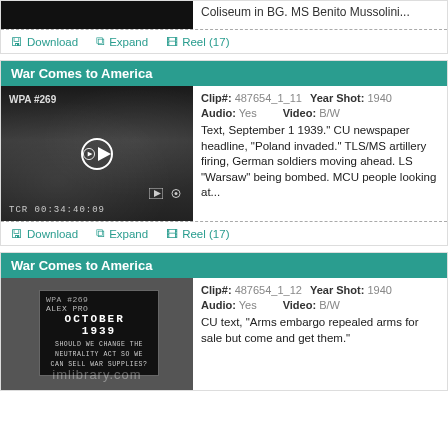Coliseum in BG. MS Benito Mussolini...
Download  Expand  Reel (17)
War Comes to America
[Figure (photo): Black and white film clip thumbnail showing crowd with WPA #269 label, TCR 00:34:40:09]
Clip#: 487654_1_11  Year Shot: 1940  Audio: Yes  Video: B/W
Text, September 1 1939." CU newspaper headline, "Poland invaded." TLS/MS artillery firing, German soldiers moving ahead. LS "Warsaw" being bombed. MCU people looking at...
Download  Expand  Reel (17)
War Comes to America
[Figure (photo): Black and white film clip thumbnail showing October 1939 text card with WPA #269, imlibrary.com watermark]
Clip#: 487654_1_12  Year Shot: 1940  Audio: Yes  Video: B/W
CU text, "Arms embargo repealed arms for sale but come and get them." CU newspaper clipping of the words & more of...